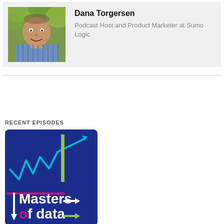[Figure (photo): Headshot photo of Dana Torgersen, a smiling middle-aged man in a blue striped shirt, outdoors with green foliage background]
Dana Torgersen
Podcast Host and Product Marketer at Sumo Logic
RECENT EPISODES
[Figure (logo): Masters of Data podcast logo — dark blue square background with cyan zigzag line chart, green vertical bar, cyan upward arrow, magenta horizontal line, white arrow pointing right, white downward arrow, and white text reading 'Masters of data' with a magenta 'o' in 'of']